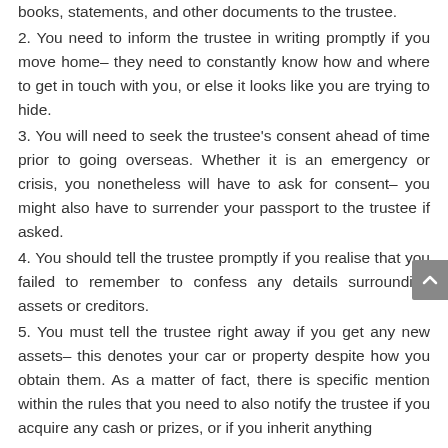books, statements, and other documents to the trustee.
2. You need to inform the trustee in writing promptly if you move home– they need to constantly know how and where to get in touch with you, or else it looks like you are trying to hide.
3. You will need to seek the trustee's consent ahead of time prior to going overseas. Whether it is an emergency or crisis, you nonetheless will have to ask for consent– you might also have to surrender your passport to the trustee if asked.
4. You should tell the trustee promptly if you realise that you failed to remember to confess any details surrounding assets or creditors.
5. You must tell the trustee right away if you get any new assets– this denotes your car or property despite how you obtain them. As a matter of fact, there is specific mention within the rules that you need to also notify the trustee if you acquire any cash or prizes, or if you inherit anything